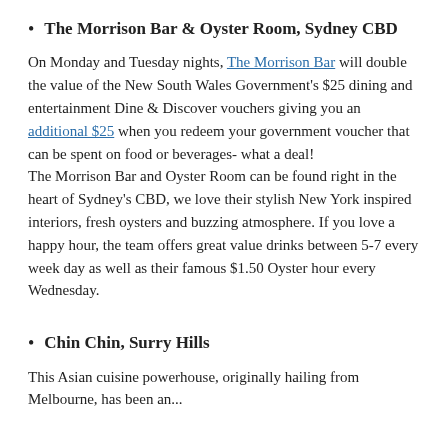The Morrison Bar & Oyster Room, Sydney CBD
On Monday and Tuesday nights, The Morrison Bar will double the value of the New South Wales Government's $25 dining and entertainment Dine & Discover vouchers giving you an additional $25 when you redeem your government voucher that can be spent on food or beverages- what a deal!
The Morrison Bar and Oyster Room can be found right in the heart of Sydney's CBD, we love their stylish New York inspired interiors, fresh oysters and buzzing atmosphere. If you love a happy hour, the team offers great value drinks between 5-7 every week day as well as their famous $1.50 Oyster hour every Wednesday.
Chin Chin, Surry Hills
This Asian cuisine powerhouse, originally hailing from Melbourne, has been an...